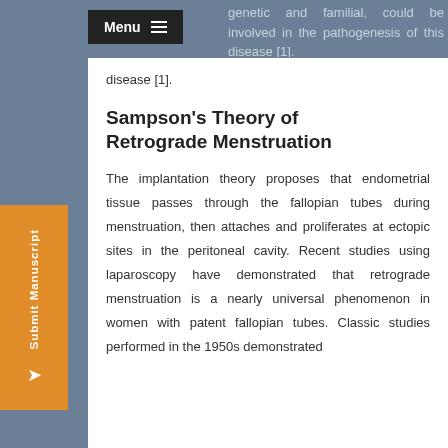genetic and familial, could be involved in the pathogenesis of this disease [1].
Sampson's Theory of Retrograde Menstruation
The implantation theory proposes that endometrial tissue passes through the fallopian tubes during menstruation, then attaches and proliferates at ectopic sites in the peritoneal cavity. Recent studies using laparoscopy have demonstrated that retrograde menstruation is a nearly universal phenomenon in women with patent fallopian tubes. Classic studies performed in the 1950s demonstrated